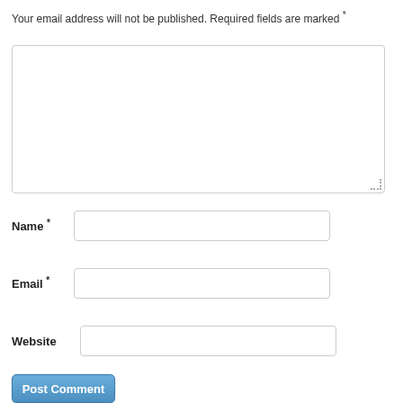Your email address will not be published. Required fields are marked *
[Figure (screenshot): Empty comment text area input box with rounded corners and resize handle]
Name *
[Figure (screenshot): Name input field text box]
Email *
[Figure (screenshot): Email input field text box]
Website
[Figure (screenshot): Website input field text box]
Post Comment